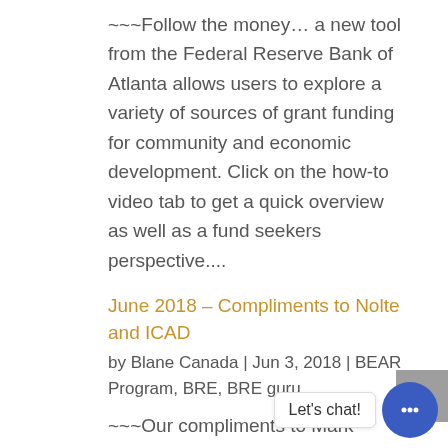~~~Follow the money… a new tool from the Federal Reserve Bank of Atlanta allows users to explore a variety of sources of grant funding for community and economic development. Click on the how-to video tab to get a quick overview as well as a fund seekers perspective....
June 2018 – Compliments to Nolte and ICAD
by Blane Canada | Jun 3, 2018 | BEAR Program, BRE, BRE guru
~~~Our compliments to Mark Nolte and the team at Iowa City Area Development Group (ICAD) for an excellent job on their video BR|E annual report. The well-executed video is an